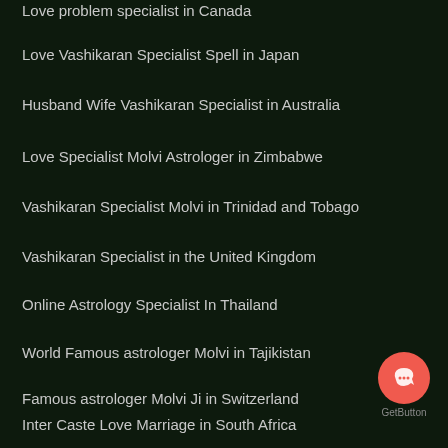Love problem specialist in Canada
Love Vashikaran Specialist Spell in Japan
Husband Wife Vashikaran Specialist in Australia
Love Specialist Molvi Astrologer in Zimbabwe
Vashikaran Specialist Molvi in Trinidad and Tobago
Vashikaran Specialist in the United Kingdom
Online Astrology Specialist In Thailand
World Famous astrologer Molvi in Tajikistan
Famous astrologer Molvi Ji in Switzerland
Inter Caste Love Marriage in South Africa